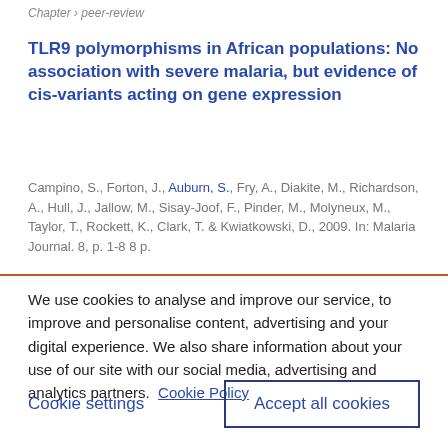Chapter › peer-review
TLR9 polymorphisms in African populations: No association with severe malaria, but evidence of cis-variants acting on gene expression
Campino, S., Forton, J., Auburn, S., Fry, A., Diakite, M., Richardson, A., Hull, J., Jallow, M., Sisay-Joof, F., Pinder, M., Molyneux, M., Taylor, T., Rockett, K., Clark, T. & Kwiatkowski, D., 2009. In: Malaria Journal. 8, p. 1-8 8 p.
We use cookies to analyse and improve our service, to improve and personalise content, advertising and your digital experience. We also share information about your use of our site with our social media, advertising and analytics partners.  Cookie Policy
Cookie settings
Accept all cookies